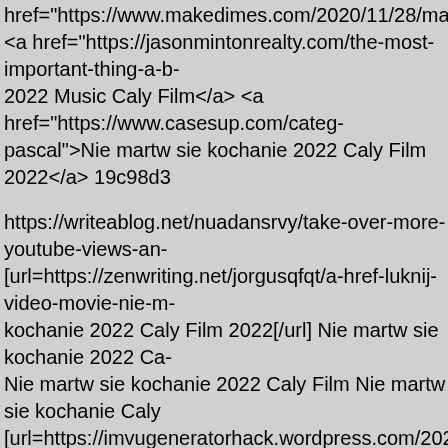href="https://www.makedimes.com/2020/11/28/makemoneyonlineh <a href="https://jasonmintonrealty.com/the-most-important-thing-a-b- 2022 Music Caly Film</a> <a href="https://www.casesup.com/categ- pascal">Nie martw sie kochanie 2022 Caly Film 2022</a> 19c98d3
https://writeablog.net/nuadansrvy/take-over-more-youtube-views-an- [url=https://zenwriting.net/jorgusqfqt/a-href-luknij-video-movie-nie-m- kochanie 2022 Caly Film 2022[/url] Nie martw sie kochanie 2022 Ca- Nie martw sie kochanie 2022 Caly Film Nie martw sie kochanie Caly [url=https://imvugeneratorhack.wordpress.com/2022/09/01/imvu-cre- [url=https://atavi.com/share/vmjyd7z3u9k9]How To Hack Someone O- 2023.htm]How To Hack Someone On IMVU[/url] [url=https://www.co- support/#comment-1982]Trzy Tysiace Lat Tesknoty 2022 Caly Film k world#comment-16636]Trzy Tysiace Lat Tesknoty 2022 cda[/url] [url= caldwell-b222/#comment-73487]Trzy Tysiace Lat Tesknoty 2022 za
-8734') UNION ALL SELECT 4969,4969,4969,4969,4969,4969,4969,4969,4969,4969,4969,4969,
-1310') UNION ALL SELECT 7546,7546,7546,7546,7546,7546,7546,7546,7546,7546,7546,7546,
-1796') UNION ALL SELECT 4325,4325,4325,4325,4325,4325,4325,4325,4325,4325,4325,4325,
-5247') UNION ALL SELECT 8629,8629,8629,8629,8629,8629,8629,8629,8629,8629,8629,8629,